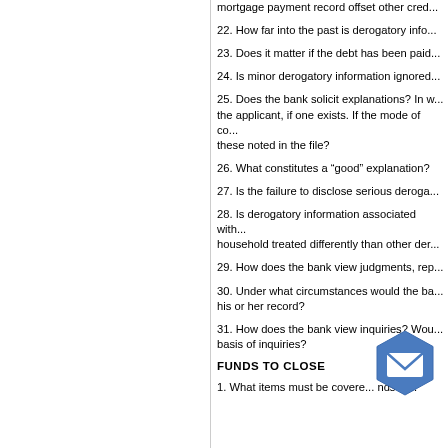mortgage payment record offset other cred...
22. How far into the past is derogatory info...
23. Does it matter if the debt has been paid...
24. Is minor derogatory information ignored...
25. Does the bank solicit explanations? In w... the applicant, if one exists. If the mode of co... these noted in the file?
26. What constitutes a “good” explanation?
27. Is the failure to disclose serious deroga...
28. Is derogatory information associated wit... household treated differently than other der...
29. How does the bank view judgments, rep...
30. Under what circumstances would the ba... his or her record?
31. How does the bank view inquiries? Wou... basis of inquiries?
FUNDS TO CLOSE
1. What items must be covere... nds fo...